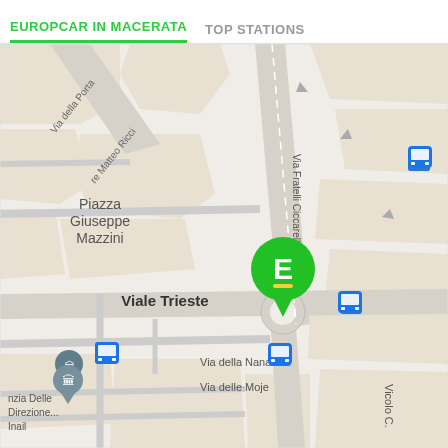EUROPCAR IN MACERATA   TOP STATIONS
[Figure (map): Street map of Macerata, Italy showing Europcar station marker (green E pin) near Via Fratelli Ciccarelli at Viale Trieste. Map shows Piazza Giuseppe Mazzini, Via della Porta, Viale Trieste, Via della Nana, Via delle Moje, Vicolo C., and transit bus stop icons. A blue pin for 'Agenzia Delle Direzione... Inail' appears in lower left.]